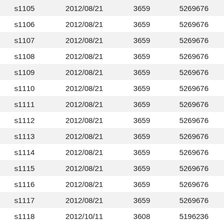| s1105 | 2012/08/21 | 3659 | 5269676 |
| s1106 | 2012/08/21 | 3659 | 5269676 |
| s1107 | 2012/08/21 | 3659 | 5269676 |
| s1108 | 2012/08/21 | 3659 | 5269676 |
| s1109 | 2012/08/21 | 3659 | 5269676 |
| s1110 | 2012/08/21 | 3659 | 5269676 |
| s1111 | 2012/08/21 | 3659 | 5269676 |
| s1112 | 2012/08/21 | 3659 | 5269676 |
| s1113 | 2012/08/21 | 3659 | 5269676 |
| s1114 | 2012/08/21 | 3659 | 5269676 |
| s1115 | 2012/08/21 | 3659 | 5269676 |
| s1116 | 2012/08/21 | 3659 | 5269676 |
| s1117 | 2012/08/21 | 3659 | 5269676 |
| s1118 | 2012/10/11 | 3608 | 5196236 |